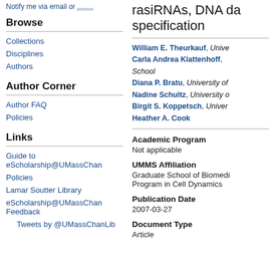Notify me via email or .........
Browse
Collections
Disciplines
Authors
Author Corner
Author FAQ
Policies
Links
Guide to eScholarship@UMassChan
Policies
Lamar Soutter Library
eScholarship@UMassChan Feedback
Tweets by @UMassChanLib
rasiRNAs, DNA da specification
William E. Theurkauf, Unive Carla Andrea Klattenhoff, School Diana P. Bratu, University of Nadine Schultz, University o Birgit S. Koppetsch, Univer Heather A. Cook
Academic Program
Not applicable
UMMS Affiliation
Graduate School of Biomedi Program in Cell Dynamics
Publication Date
2007-03-27
Document Type
Article